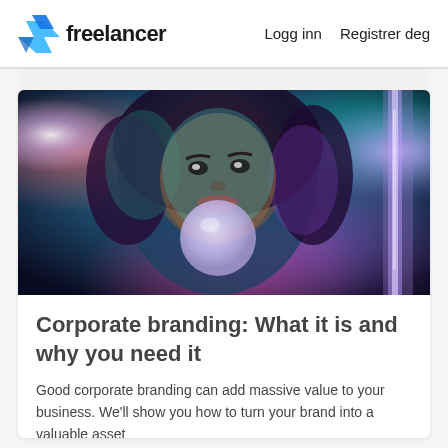freelancer  Logg inn  Registrer deg
[Figure (photo): A young woman with curly hair blowing a large pink bubble gum bubble, lit with colorful neon lights in shades of blue, teal, purple, and pink]
Corporate branding: What it is and why you need it
Good corporate branding can add massive value to your business. We'll show you how to turn your brand into a valuable asset
7 min read